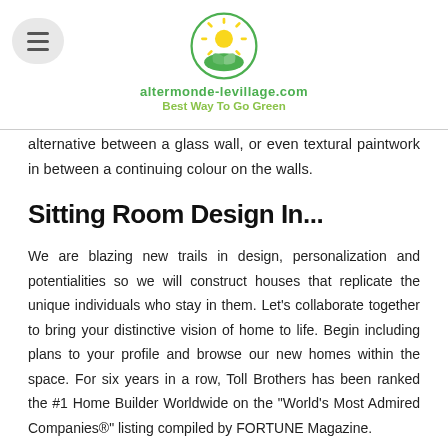altermonde-levillage.com — Best Way To Go Green
alternative between a glass wall, or even textural paintwork in between a continuing colour on the walls.
Sitting Room Design In...
We are blazing new trails in design, personalization and potentialities so we will construct houses that replicate the unique individuals who stay in them. Let's collaborate together to bring your distinctive vision of home to life. Begin including plans to your profile and browse our new homes within the space. For six years in a row, Toll Brothers has been ranked the #1 Home Builder Worldwide on the "World's Most Admired Companies®" listing compiled by FORTUNE Magazine.
Designing from scratch or customizing a home plan, partnering with the Carrell Group means you've the liberty to build your home, your method. Founded in 2010 and having completed tons of of projects in Residential and Commercial segment in and round Hyderabad, we've